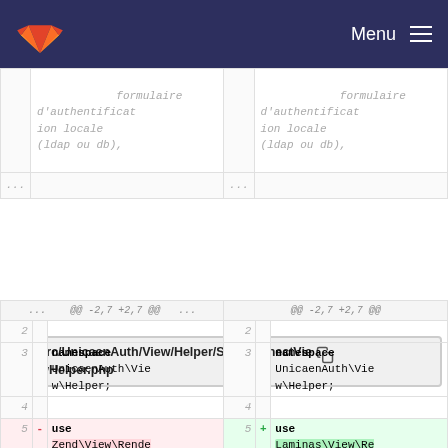Menu
formulaire d'authentification locale (ldap ou db), ...
src/UnicaenAuth/View/Helper/ShibConnectViewHelper.php
| line-old |  | code-old | line-new |  | code-new |
| --- | --- | --- | --- | --- | --- |
| ... |  | @@ -2,7 +2,7 @@ | ... |  | @@ -2,7 +2,7 @@ |
| 2 |  |  | 2 |  |  |
| 3 |  | namespace UnicaenAuth\View\Helper; | 3 |  | namespace UnicaenAuth\View\Helper; |
| 4 |  |  | 4 |  |  |
| 5 | - | use Zend\View\Renderer\PhpRenderer; | 5 | + | use Laminas\View\Renderer\PhpRenderer; |
| 6 |  |  | 6 |  |  |